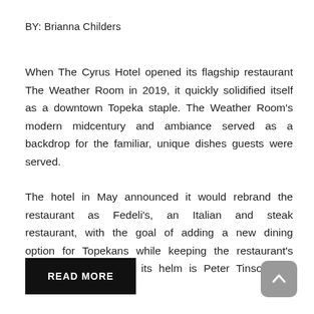BY: Brianna Childers
When The Cyrus Hotel opened its flagship restaurant The Weather Room in 2019, it quickly solidified itself as a downtown Topeka staple. The Weather Room's modern midcentury and ambiance served as a backdrop for the familiar, unique dishes guests were served.
The hotel in May announced it would rebrand the restaurant as Fedeli's, an Italian and steak restaurant, with the goal of adding a new dining option for Topekans while keeping the restaurant's atmosphere intact. At its helm is Peter Tinson, the restaurant's new chef.